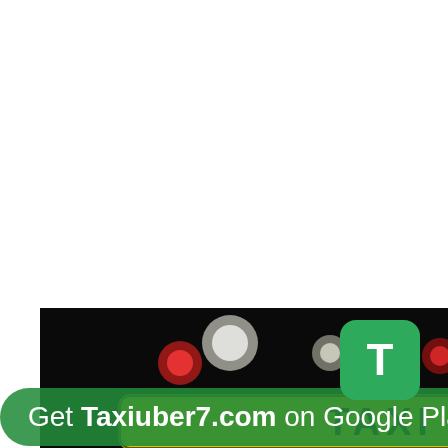[Figure (photo): Night photo of a taxi sign in the foreground with blurred bokeh lights (white, red, orange) in the dark background. The word TAXI is visible in yellow/green on the taxi roof sign.]
Get Taxiuber7.com on Google Play